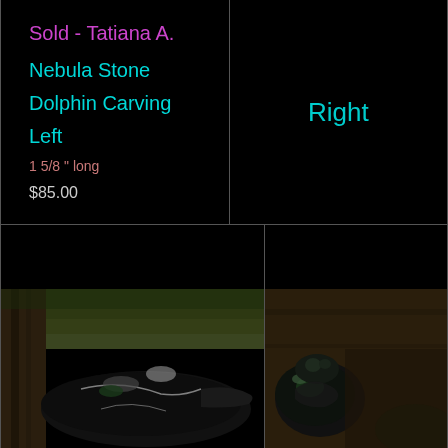Sold - Tatiana A.
Nebula Stone
Dolphin Carving
Left
1 5/8 " long
$85.00
Right
[Figure (photo): Photo of a black Nebula Stone dolphin carving on a natural background with moss/wood]
[Figure (photo): Partial photo of a small carved stone piece on a natural background]